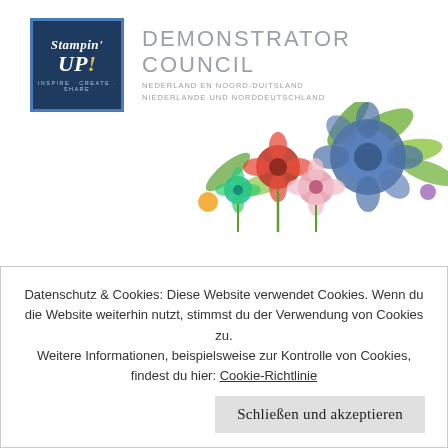[Figure (logo): Stampin' Up! logo — dark navy blue square with white italic text 'Stampin' UP!' and tagline 'INSPIRE · CREATE · SHARE' below]
DEMONSTRATOR COUNCIL
NEDERLAND EN NOORD-DUITSLAND
NIEDERLANDE UND NORDDEUTSCHLAND
[Figure (illustration): Decorative floral illustration with colorful flowers (red, pink, blue, teal) and green leaves on a white background, spanning upper-right portion of the page]
Datenschutz & Cookies: Diese Website verwendet Cookies. Wenn du die Website weiterhin nutzt, stimmst du der Verwendung von Cookies zu.
Weitere Informationen, beispielsweise zur Kontrolle von Cookies, findest du hier: Cookie-Richtlinie
Schließen und akzeptieren